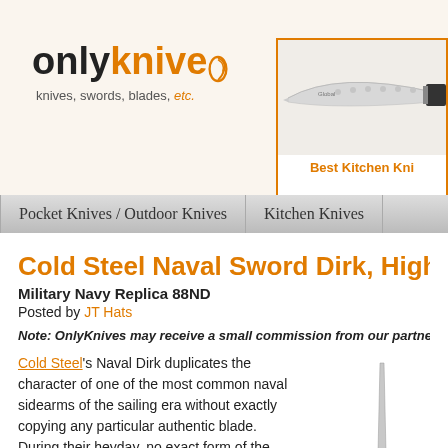[Figure (logo): OnlyKnives logo with orange and black text and swirl graphic, tagline: knives, swords, blades, etc.]
[Figure (photo): Kitchen knife advertisement box with orange border, partial view of a kitchen knife blade, caption: Best Kitchen Kni...]
Pocket Knives / Outdoor Knives   Kitchen Knives
Cold Steel Naval Sword Dirk, High Ca...
Military Navy Replica 88ND
Posted by JT Hats
Note: OnlyKnives may receive a small commission from our partner should you...
Cold Steel's Naval Dirk duplicates the character of one of the most common naval sidearms of the sailing era without exactly copying any particular authentic blade. During their heyday, no exact form of the dirk became standard. This modern Naval Dirk follows that trend of individuality but is unmistakeably Cold Steel.
[Figure (photo): Cold Steel Naval Sword Dirk with black handle, hand guard, and sheath]
The 21-7/8-inch Naval Dirk looks as though it somehow slipped out of the 18th century, but the materials and workmanship are totally modern. Pommel, hand guard, and handle spacers add some...